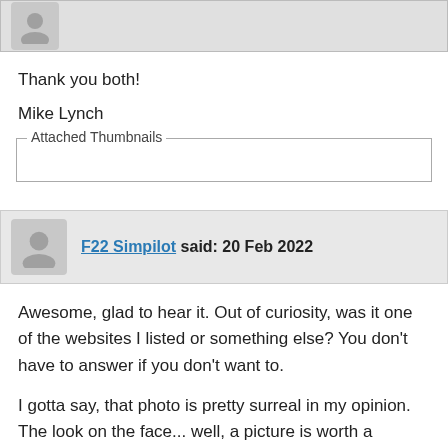[Figure (other): User avatar placeholder at top (grey silhouette icon)]
Thank you both!
Mike Lynch
Attached Thumbnails
F22 Simpilot said: 20 Feb 2022
Awesome, glad to hear it. Out of curiosity, was it one of the websites I listed or something else? You don't have to answer if you don't want to.
I gotta say, that photo is pretty surreal in my opinion. The look on the face... well, a picture is worth a thousand